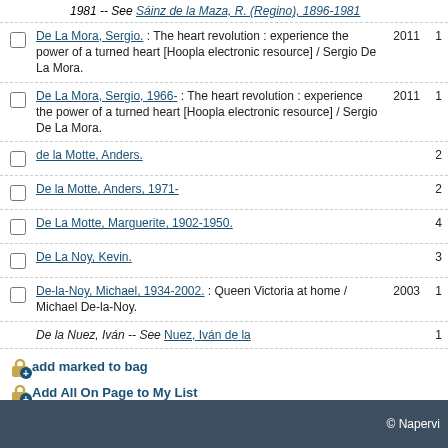1981 -- See Sáinz de la Maza, R. (Regino), 1896-1981
De La Mora, Sergio. : The heart revolution : experience the power of a turned heart [Hoopla electronic resource] / Sergio De La Mora. 2011 1
De La Mora, Sergio, 1966- : The heart revolution : experience the power of a turned heart [Hoopla electronic resource] / Sergio De La Mora. 2011 1
de la Motte, Anders. 2
De la Motte, Anders, 1971- 2
De La Motte, Marguerite, 1902-1950. 4
De La Noy, Kevin. 3
De-la-Noy, Michael, 1934-2002. : Queen Victoria at home / Michael De-la-Noy. 2003 1
De la Nuez, Iván -- See Nuez, Iván de la 1
add marked to bag
Add All On Page to My List
Result Page  prev  next
Extended Display
Search LINKin Partner Libraries
© Napervi